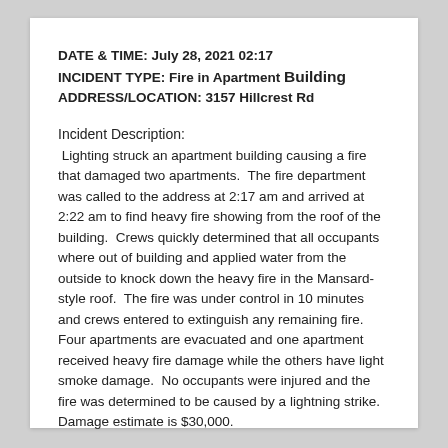DATE & TIME: July 28, 2021 02:17
INCIDENT TYPE: Fire in Apartment Building
ADDRESS/LOCATION: 3157 Hillcrest Rd
Incident Description:
Lighting struck an apartment building causing a fire that damaged two apartments.  The fire department was called to the address at 2:17 am and arrived at 2:22 am to find heavy fire showing from the roof of the building.  Crews quickly determined that all occupants where out of building and applied water from the outside to knock down the heavy fire in the Mansard-style roof.  The fire was under control in 10 minutes and crews entered to extinguish any remaining fire.  Four apartments are evacuated and one apartment received heavy fire damage while the others have light smoke damage.  No occupants were injured and the fire was determined to be caused by a lightning strike.  Damage estimate is $30,000.